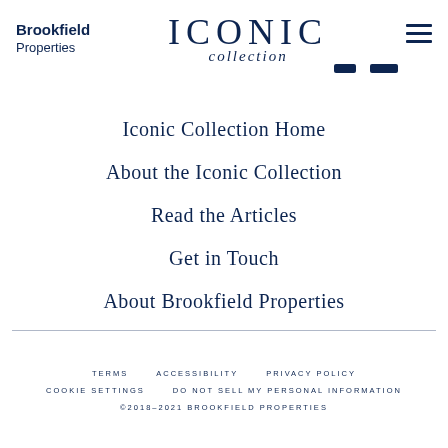[Figure (logo): Brookfield Properties wordmark on left, ICONIC collection logo in center, hamburger menu icon on right]
Iconic Collection Home
About the Iconic Collection
Read the Articles
Get in Touch
About Brookfield Properties
TERMS   ACCESSIBILITY   PRIVACY POLICY   COOKIE SETTINGS   DO NOT SELL MY PERSONAL INFORMATION   ©2018–2021 BROOKFIELD PROPERTIES